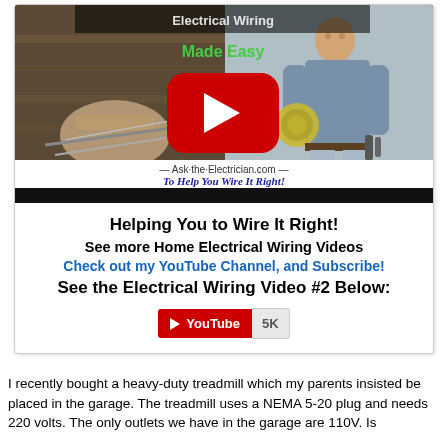[Figure (screenshot): YouTube video thumbnail for 'Electrical Wiring Made Easy' from Ask-the-Electrician.com with a red play button, showing a person holding wire coil and hands working on wiring. Below the thumbnail is a black bar, then text: 'Helping You to Wire It Right!', 'See more Home Electrical Wiring Videos', 'Check out my YouTube Channel, and Subscribe!', 'See the Electrical Wiring Video #2 Below:', and a YouTube subscribe button showing 5K.]
I recently bought a heavy-duty treadmill which my parents insisted be placed in the garage. The treadmill uses a NEMA 5-20 plug and needs 220 volts. The only outlets we have in the garage are 110V. Is